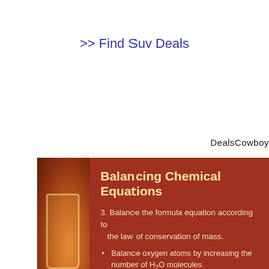>> Find Suv Deals
DealsCowboy
Balancing Chemical Equations
3. Balance the formula equation according to the law of conservation of mass.
Balance oxygen atoms by increasing the number of H2O molecules.
2H2O(l) → H2(g) + O2(g) (partially balanced)
Balance the hydrogen atoms by placing the coefficient 2 in front of hydrogen, H2.